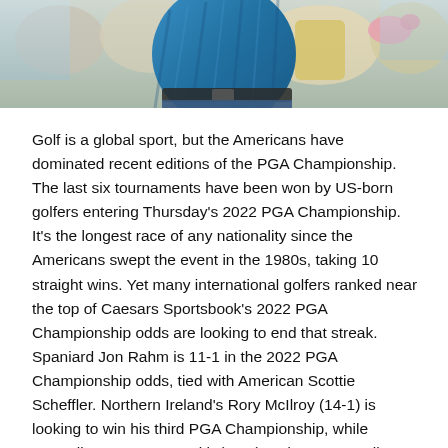[Figure (photo): Cropped photo of a golfer wearing a blue patterned shirt and dark pants, crowd visible in background]
Golf is a global sport, but the Americans have dominated recent editions of the PGA Championship. The last six tournaments have been won by US-born golfers entering Thursday's 2022 PGA Championship. It's the longest race of any nationality since the Americans swept the event in the 1980s, taking 10 straight wins. Yet many international golfers ranked near the top of Caesars Sportsbook's 2022 PGA Championship odds are looking to end that streak. Spaniard Jon Rahm is 11-1 in the 2022 PGA Championship odds, tied with American Scottie Scheffler. Northern Ireland's Rory McIlroy (14-1) is looking to win his third PGA Championship, while Australia's Cameron Smith (22-1) and Norway's Viktor Hovland (22-1) are looking for their first tournaments majors.